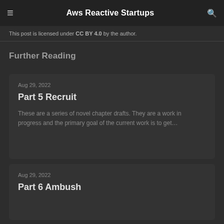Aws Reactive Startups
This post is licensed under CC BY 4.0 by the author.
Further Reading
Aug 29, 2022
Part 5 Recruit
These are a series of novel chapter drafts. They are a work in progress and the primary goal of the current work is to get…
Aug 29, 2022
Part 6 Ambush